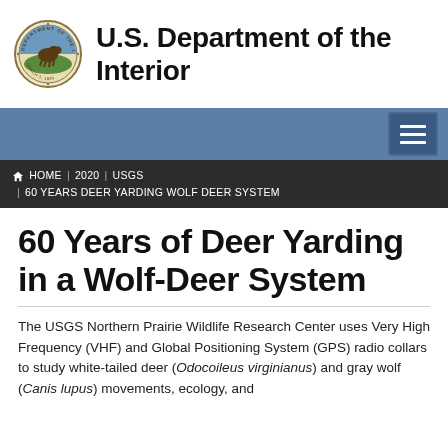U.S. Department of the Interior
60 Years of Deer Yarding in a Wolf-Deer System
The USGS Northern Prairie Wildlife Research Center uses Very High Frequency (VHF) and Global Positioning System (GPS) radio collars to study white-tailed deer (Odocoileus virginianus) and gray wolf (Canis lupus) movements, ecology, and